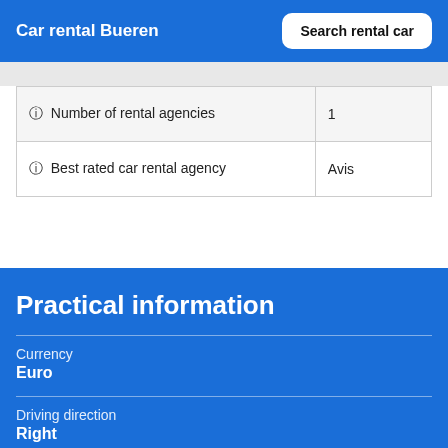Car rental Bueren
| 🛈 Number of rental agencies | 1 |
| 🛈 Best rated car rental agency | Avis |
Practical information
Currency
Euro
Driving direction
Right
City speed limit